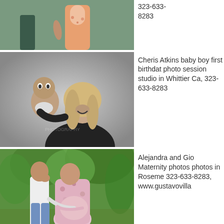[Figure (photo): Top partial photo of couple outdoors, teal/green background, person in floral dress and person in dark clothing]
323-633-8283
[Figure (photo): Black and white photo of a woman smiling holding a baby boy in a studio setting]
Cheris Atkins baby boy first birthdat photo session studio in Whittier Ca, 323-633-8283
[Figure (photo): Outdoor maternity photo of a couple in a green garden setting, woman in floral dress]
Alejandra and Gio Maternity photos photos in Roseme 323-633-8283, www.gustavovilla